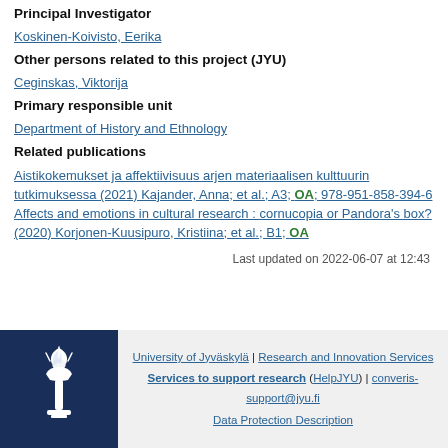Principal Investigator
Koskinen-Koivisto, Eerika
Other persons related to this project (JYU)
Ceginskas, Viktorija
Primary responsible unit
Department of History and Ethnology
Related publications
Aistikokemukset ja affektiivisuus arjen materiaalisen kulttuurin tutkimuksessa (2021) Kajander, Anna; et al.; A3; OA; 978-951-858-394-6
Affects and emotions in cultural research : cornucopia or Pandora's box? (2020) Korjonen-Kuusipuro, Kristiina; et al.; B1; OA
Last updated on 2022-06-07 at 12:43
[Figure (logo): University of Jyväskylä torch/flame logo on dark navy background]
University of Jyväskylä | Research and Innovation Services
Services to support research (HelpJYU) | converis-support@jyu.fi
Data Protection Description